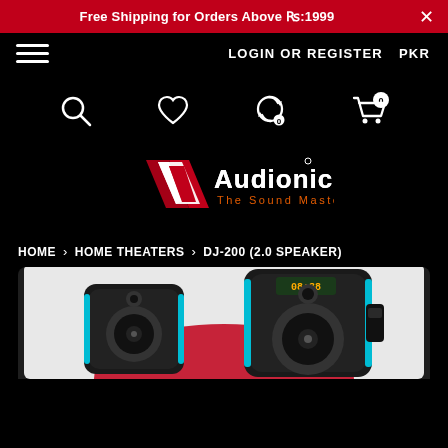Free Shipping for Orders Above ₨:1999
LOGIN OR REGISTER   PKR
[Figure (logo): Audionic logo — The Sound Master, red and white A chevron emblem with white text 'Audionic' and red tagline 'The Sound Master']
HOME › HOME THEATERS › DJ-200 (2.0 SPEAKER)
[Figure (photo): Product photo of Audionic DJ-200 2.0 speaker system, showing two black speakers with teal/blue accent lighting on a white background]